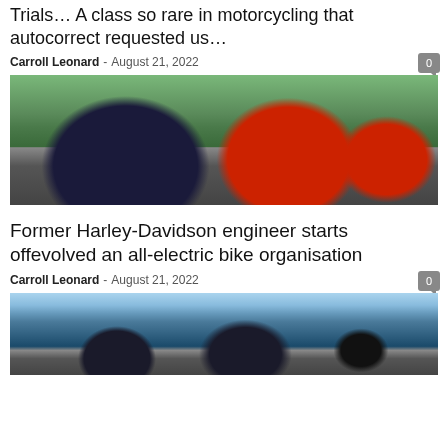Trials… A class so rare in motorcycling that autocorrect requested us…
Carroll Leonard - August 21, 2022
[Figure (photo): Two custom chopper motorcycles parked on a road, one dark blue and one red with flame graphics, with a house and trees in the background]
Former Harley-Davidson engineer starts offevolved an all-electric bike organisation
Carroll Leonard - August 21, 2022
[Figure (photo): Group of motorcyclists gathered outdoors with palm trees visible in the background]